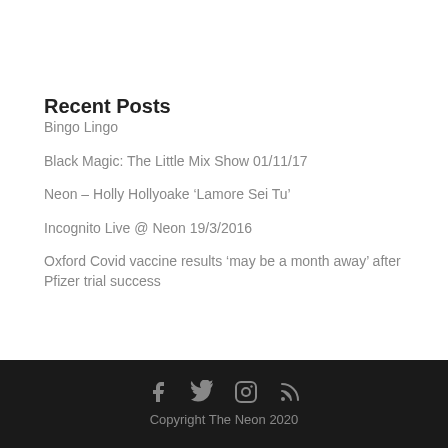Recent Posts
Bingo Lingo
Black Magic: The Little Mix Show 01/11/17
Neon – Holly Hollyoake ‘Lamore Sei Tu’
Incognito Live @ Neon 19/3/2016
Oxford Covid vaccine results ‘may be a month away’ after Pfizer trial success
Copyright The Neon 2020